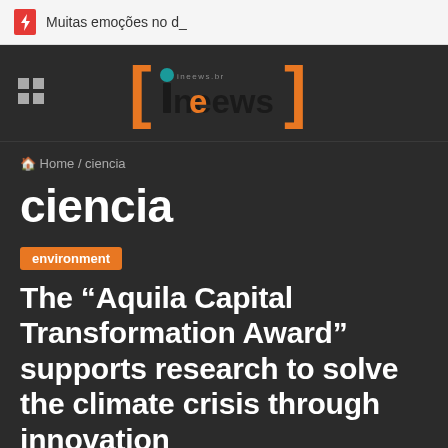Muitas emoções no d_
[Figure (logo): ineews logo with orange bracket design and teal/dark text]
Home / ciencia
ciencia
environment
The “Aquila Capital Transformation Award” supports research to solve the climate crisis through innovation